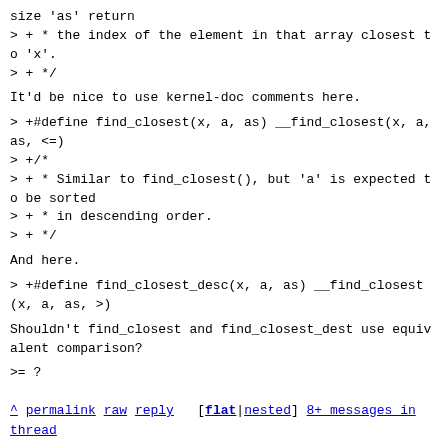size 'as' return
> + * the index of the element in that array closest to 'x'.
> + */
It'd be nice to use kernel-doc comments here.
> +#define find_closest(x, a, as) __find_closest(x, a, as, <=)
> +/*
> + * Similar to find_closest(), but 'a' is expected to be sorted
> + * in descending order.
> + */
And here.
> +#define find_closest_desc(x, a, as) __find_closest(x, a, as, >)
Shouldn't find_closest and find_closest_dest use equivalent comparison?
>= ?
^ permalink raw reply [flat|nested] 8+ messages in thread